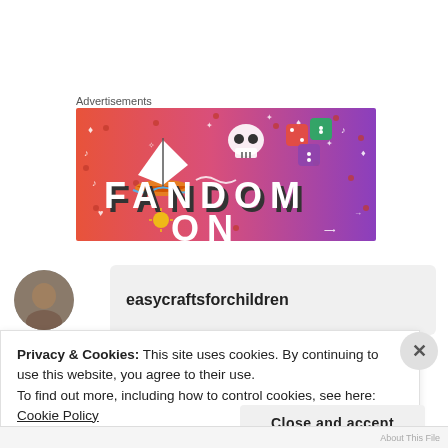Advertisements
[Figure (illustration): Fandom banner advertisement with colorful gradient background (pink/orange to purple), showing a sailboat, skull, dice, and the word FANDOM in large bold letters]
easycraftsforchildren
Privacy & Cookies: This site uses cookies. By continuing to use this website, you agree to their use.
To find out more, including how to control cookies, see here: Cookie Policy
Close and accept